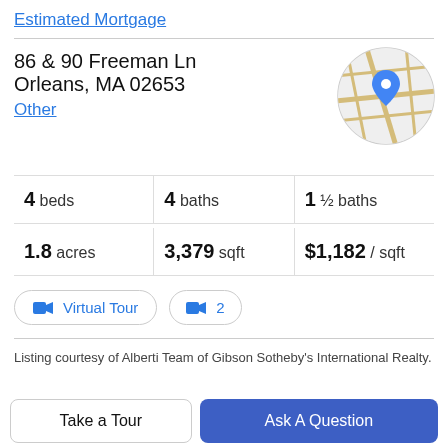Estimated Mortgage
86 & 90 Freeman Ln
Orleans, MA 02653
Other
[Figure (map): Circular map thumbnail showing street map with blue location pin marker]
4 beds | 4 baths | 1 ½ baths
1.8 acres | 3,379 sqft | $1,182 / sqft
🎥 Virtual Tour | 🎥 2
Listing courtesy of Alberti Team of Gibson Sotheby's International Realty.
Property Description
Take a Tour | Ask A Question